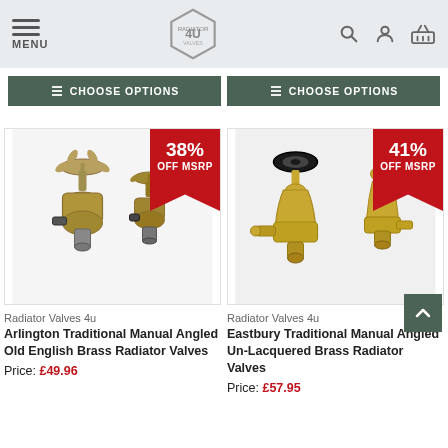MENU | Radiator Valves 4U logo | search icon | account icon | basket icon
CHOOSE OPTIONS (x2 buttons)
[Figure (photo): Two antique brass angled radiator valves (Arlington Traditional Manual Angled Old English Brass) with 38% OFF MSRP badge]
[Figure (photo): Two unlacquered brass angled radiator valves (Eastbury Traditional Manual Angled Un-Lacquered Brass) with 41% OFF MSRP badge]
Radiator Valves 4u
Arlington Traditional Manual Angled Old English Brass Radiator Valves
Price: £49.96
Radiator Valves 4u
Eastbury Traditional Manual Angled Un-Lacquered Brass Radiator Valves
Price: £57.95